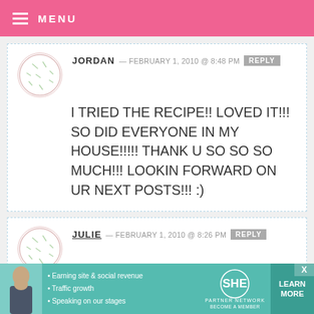MENU
JORDAN — FEBRUARY 1, 2010 @ 8:48 PM REPLY
I TRIED THE RECIPE!! LOVED IT!!! SO DID EVERYONE IN MY HOUSE!!!!! THANK U SO SO SO MUCH!!! LOOKIN FORWARD ON UR NEXT POSTS!!! :)
JULIE — FEBRUARY 1, 2010 @ 8:26 PM REPLY
Oh my....definitely going to give this recipe a try! thank you!
[Figure (infographic): SHE Partner Network advertisement banner with woman photo, bullet points about earning site & social revenue, traffic growth, speaking on our stages, SHE logo, and LEARN MORE button]